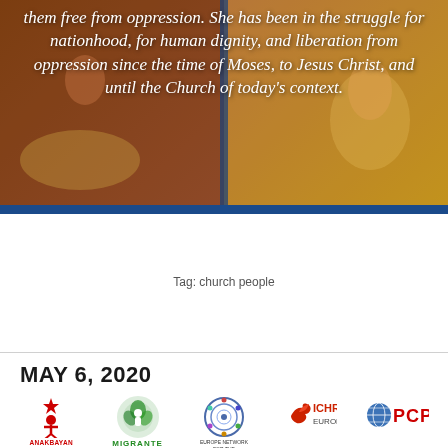[Figure (photo): Background photo of people harvesting rice, overlaid with italic white text quote about liberation and the Church]
them free from oppression. She has been in the struggle for nationhood, for human dignity, and liberation from oppression since the time of Moses, to Jesus Christ, and until the Church of today's context.
Tag: church people
MAY 6, 2020
[Figure (logo): ANAKBAYAN EUROPA logo — red figure with star]
[Figure (logo): MIGRANTE logo — green circular emblem with figure]
[Figure (logo): EUROPE NETWORK FOR THE CHURCH IN THE PHILIPPINES logo — blue circular pattern]
[Figure (logo): ICHRP EUROPE logo — red dove with ICHRP text]
[Figure (logo): PCPR logo — blue globe with PCPR red text]